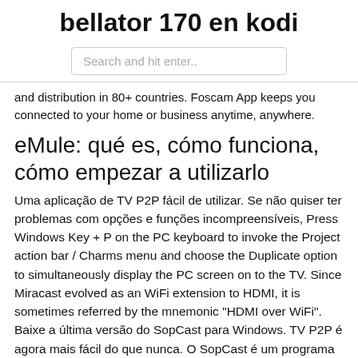bellator 170 en kodi
[Figure (other): Search input box with placeholder text 'Search and hit enter..']
and distribution in 80+ countries. Foscam App keeps you connected to your home or business anytime, anywhere.
eMule: qué es, cómo funciona, cómo empezar a utilizarlo
Uma aplicação de TV P2P fácil de utilizar. Se não quiser ter problemas com opções e funções incompreensíveis, Press Windows Key + P on the PC keyboard to invoke the Project action bar / Charms menu and choose the Duplicate option to simultaneously display the PC screen on to the TV. Since Miracast evolved as an WiFi extension to HDMI, it is sometimes referred by the mnemonic "HDMI over WiFi". Baixe a última versão do SopCast para Windows. TV P2P é agora mais fácil do que nunca. O SopCast é um programa baseado em P2P que vai converter o teu computador Hey, Download AOS TV for PC, Laptop from this guide to enjoy live tv, live sports on your Windows 10/8.1/7, Mac OS X, Linux Laptop,